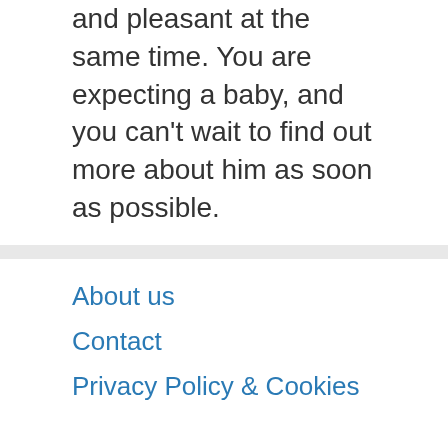and pleasant at the same time. You are expecting a baby, and you can't wait to find out more about him as soon as possible.
About us
Contact
Privacy Policy & Cookies
ATTENTION TO RIGHT HOLDERS! All materials are posted on the site strictly for informational and educational purposes! If you believe that the posting of any material infringes your copyright, be sure to contact us through the contact form and your material will be removed!